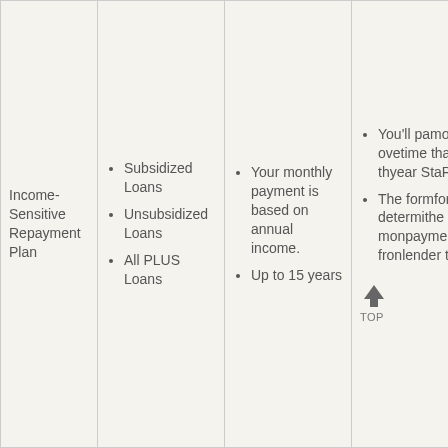| Plan Name | Eligible Loans | Repayment Details | Notes |
| --- | --- | --- | --- |
| Income-Sensitive Repayment Plan | Subsidized Loans
Unsubsidized Loans
All PLUS Loans | Your monthly payment is based on annual income.
Up to 15 years | You'll pay more over time than under the 10-year Standard Plan.
The formula for determining the monthly payment may vary from lender to lender. |